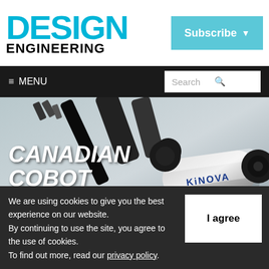DESIGN ENGINEERING
Subscribe
≡ MENU
Search
[Figure (photo): Close-up photo of a Kinova robotic arm cobot, showing black and silver articulated arm segments with the Kinova brand logo on a silver cylindrical joint]
CANADIAN COBOT
Montreal's Kinova Robotics leverages history of assistive robotics to develop its industrial Link 6 cobot.
We are using cookies to give you the best experience on our website.
By continuing to use the site, you agree to the use of cookies.
To find out more, read our privacy policy.
I agree